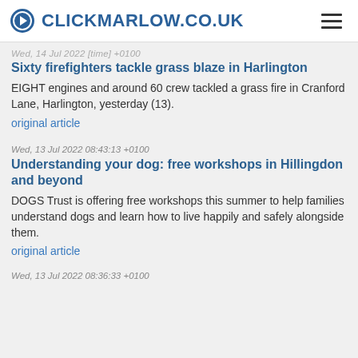CLICKMARLOW.CO.UK
Wed, 14 Jul 2022 [time] +0100
Sixty firefighters tackle grass blaze in Harlington
EIGHT engines and around 60 crew tackled a grass fire in Cranford Lane, Harlington, yesterday (13).
original article
Wed, 13 Jul 2022 08:43:13 +0100
Understanding your dog: free workshops in Hillingdon and beyond
DOGS Trust is offering free workshops this summer to help families understand dogs and learn how to live happily and safely alongside them.
original article
Wed, 13 Jul 2022 08:36:33 +0100